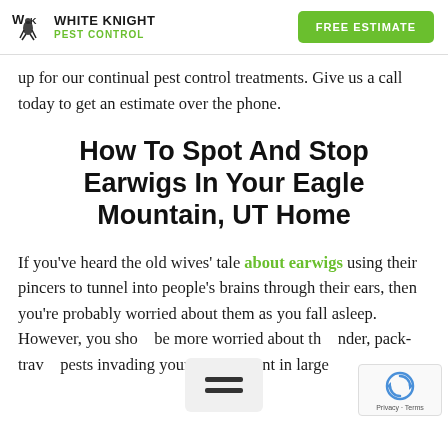White Knight Pest Control | FREE ESTIMATE
up for our continual pest control treatments. Give us a call today to get an estimate over the phone.
How To Spot And Stop Earwigs In Your Eagle Mountain, UT Home
If you've heard the old wives' tale about earwigs using their pincers to tunnel into people's brains through their ears, then you're probably worried about them as you fall asleep. However, you should be more worried about the, pack-traveling pests invading your lawnment in large